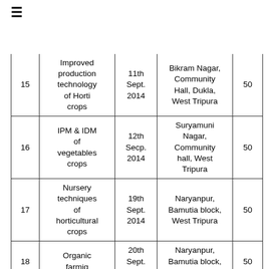≡
| No. | Topic | Date | Venue | Participants |
| --- | --- | --- | --- | --- |
| 15 | Improved production technology of Horti crops | 11th Sept. 2014 | Bikram Nagar, Community Hall, Dukla, West Tripura | 50 |
| 16 | IPM & IDM of vegetables crops | 12th Secp. 2014 | Suryamuni Nagar, Community hall, West Tripura | 50 |
| 17 | Nursery techniques of horticultural crops | 19th Sept. 2014 | Naryanpur, Bamutia block, West Tripura | 50 |
| 18 | Organic farmig | 20th Sept. 2014 | Naryanpur, Bamutia block, West Tripura | 50 |